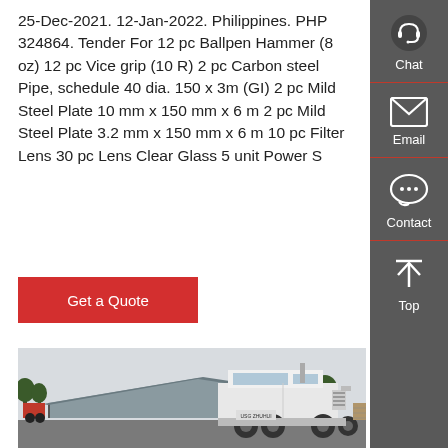25-Dec-2021. 12-Jan-2022. Philippines. PHP 324864. Tender For 12 pc Ballpen Hammer (8 oz) 12 pc Vice grip (10 R) 2 pc Carbon steel Pipe, schedule 40 dia. 150 x 3m (GI) 2 pc Mild Steel Plate 10 mm x 150 mm x 6 m 2 pc Mild Steel Plate 3.2 mm x 150 mm x 6 m 10 pc Filter Lens 30 pc Lens Clear Glass 5 unit Power S
[Figure (other): Red button labeled 'Get a Quote']
[Figure (photo): White heavy-duty truck/semi-truck parked at a facility with a large covered structure and trees in the background]
[Figure (infographic): Right sidebar with dark grey background containing four icons and labels: Chat (headset icon), Email (envelope icon), Contact (speech bubble icon), Top (upward arrow icon). Each section separated by a red horizontal line.]